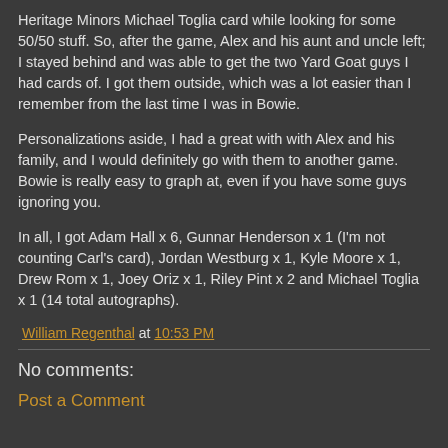Heritage Minors Michael Toglia card while looking for some 50/50 stuff.  So, after the game, Alex and his aunt and uncle left; I stayed behind and was able to get the two Yard Goat guys I had cards of.  I got them outside, which was a lot easier than I remember from the last time I was in Bowie.
Personalizations aside, I had a great with with Alex and his family, and I would definitely go with them to another game. Bowie is really easy to graph at, even if you have some guys ignoring you.
In all, I got Adam Hall x 6, Gunnar Henderson x 1 (I'm not counting Carl's card), Jordan Westburg x 1, Kyle Moore x 1, Drew Rom x 1, Joey Oriz x 1, Riley Pint x 2 and Michael Toglia x 1 (14 total autographs).
William Regenthal at 10:53 PM
No comments:
Post a Comment